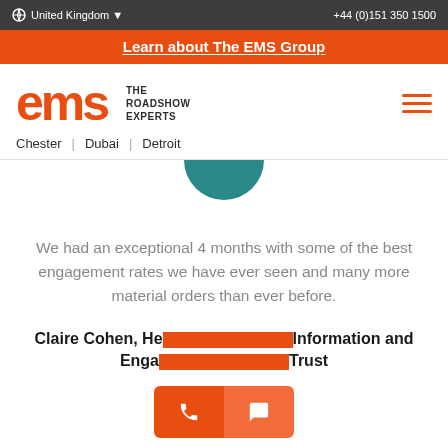United Kingdom  +44 (0)151 350 1500
Learn about The EMS Group
[Figure (logo): EMS - The Roadshow Experts logo with locations Chester | Dubai | Detroit]
[Figure (illustration): Teal semicircle partially visible at top of content area]
We had an exceptional 4 months with some of the best engagement rates we have ever seen and many more material orders than ever before.
Claire Cohen, He[ad] Information and Enga[gement] Trust